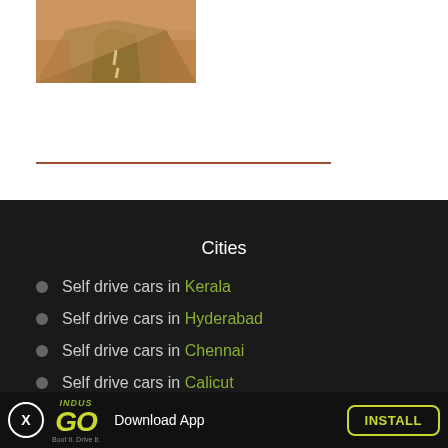[Figure (photo): A curved road/highway photograph with orange/brown tones showing lane markings, viewed from above]
Cities
Self drive cars in Kerala
Self drive cars in Hyderabad
Self drive cars in Chennai
Self drive cars in Calicut
INDUS GO Download App INSTALL